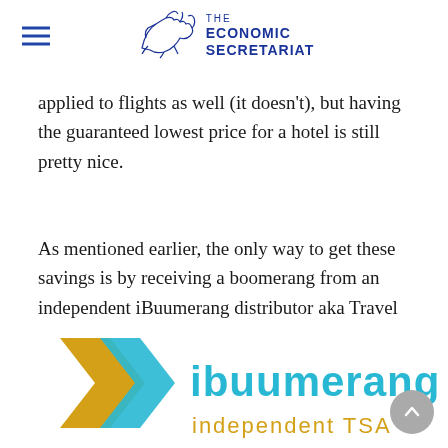THE ECONOMIC SECRETARIAT
applied to flights as well (it doesn't), but having the guaranteed lowest price for a hotel is still pretty nice.
As mentioned earlier, the only way to get these savings is by receiving a boomerang from an independent iBuumerang distributor aka Travel Savings Ambassador (TSA).
[Figure (logo): iBuumerang logo with chevron arrow in gold/blue and text 'ibuumerang' with tagline 'independent TSA']